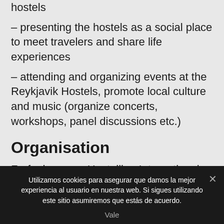– capturing the sustainable, social, fun vibe of the hostels
– presenting the hostels as a social place to meet travelers and share life experiences
– attending and organizing events at the Reykjavik Hostels, promote local culture and music (organize concerts, workshops, panel discussions etc.)
Organisation
Farfuglar ses – Hostelling International (HI) Iceland is a non-governmental and non-profit membership...
Utilizamos cookies para asegurar que damos la mejor experiencia al usuario en nuestra web. Si sigues utilizando este sitio asumiremos que estás de acuerdo.